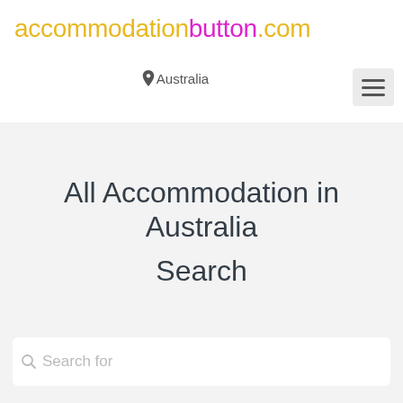accommodationbutton.com
Australia
All Accommodation in Australia
Search
Search for